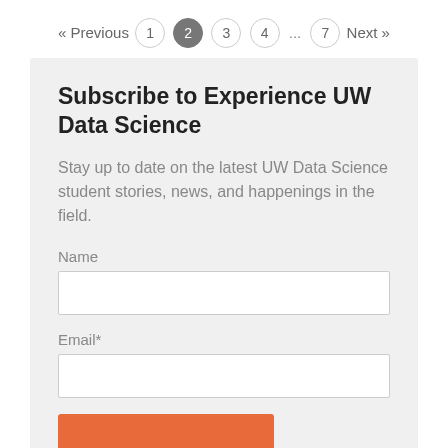« Previous  1  2  3  4  ...  7  Next »
Subscribe to Experience UW Data Science
Stay up to date on the latest UW Data Science student stories, news, and happenings in the field.
Name
Email*